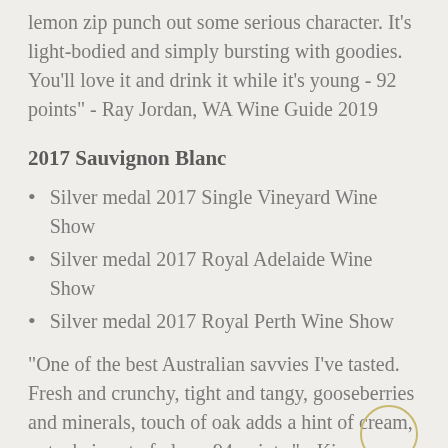lemon zip punch out some serious character. It's light-bodied and simply bursting with goodies. You'll love it and drink it while it's young - 92 points" - Ray Jordan, WA Wine Guide 2019
2017 Sauvignon Blanc
Silver medal 2017 Single Vineyard Wine Show
Silver medal 2017 Royal Adelaide Wine Show
Silver medal 2017 Royal Perth Wine Show
"One of the best Australian savvies I've tasted. Fresh and crunchy, tight and tangy, gooseberries and minerals, touch of oak adds a hint of cream, not a hair out of place. 94 points." - Kim Brebach, Aug 2017